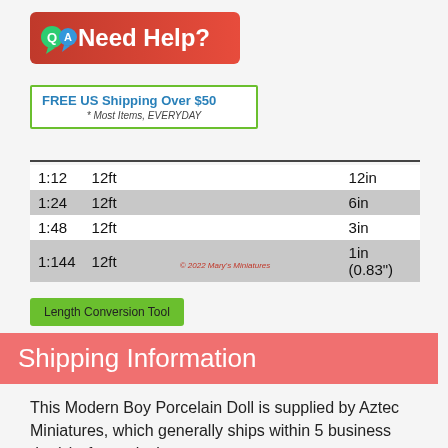[Figure (logo): Need Help? Q&A logo banner with red/orange background and speech bubble icon]
[Figure (infographic): FREE US Shipping Over $50 * Most Items, EVERYDAY banner with green border]
| 1:12 | 12ft |  | 12in |
| 1:24 | 12ft |  | 6in |
| 1:48 | 12ft |  | 3in |
| 1:144 | 12ft |  | 1in (0.83") |
© 2022 Mary's Miniatures
[Figure (other): Length Conversion Tool green button]
Shipping Information
This Modern Boy Porcelain Doll is supplied by Aztec Miniatures, which generally ships within 5 business day(s) of you placing your